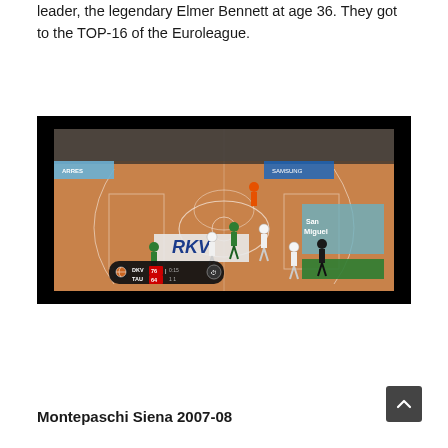leader, the legendary Elmer Bennett at age 36. They got to the TOP-16 of the Euroleague.
[Figure (photo): Basketball game screenshot showing players on an indoor basketball court during a Euroleague match. The scoreboard in the lower left shows DKV vs TAU. Players in white and green uniforms on an orange hardwood floor. Arena advertising boards visible including RKV and SanMiguel brands. Black border surrounds the video frame.]
Montepaschi Siena 2007-08